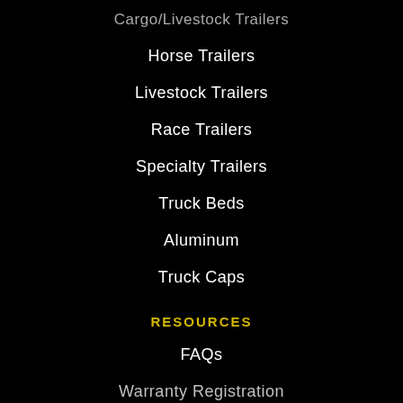Cargo/Livestock Trailers
Horse Trailers
Livestock Trailers
Race Trailers
Specialty Trailers
Truck Beds
Aluminum
Truck Caps
RESOURCES
FAQs
Warranty Registration